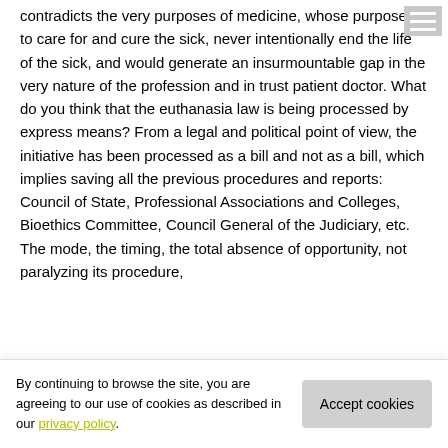contradicts the very purposes of medicine, whose purpose is to care for and cure the sick, never intentionally end the life of the sick, and would generate an insurmountable gap in the very nature of the profession and in trust patient doctor. What do you think that the euthanasia law is being processed by express means? From a legal and political point of view, the initiative has been processed as a bill and not as a bill, which implies saving all the previous procedures and reports: Council of State, Professional Associations and Colleges, Bioethics Committee, Council General of the Judiciary, etc. The mode, the timing, the total absence of opportunity, not paralyzing its procedure,
By continuing to browse the site, you are agreeing to our use of cookies as described in our privacy policy.